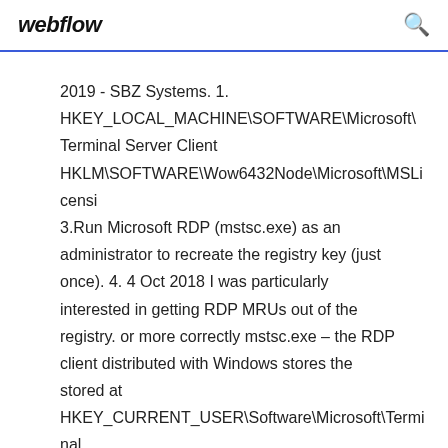webflow
2019 - SBZ Systems. 1. HKEY_LOCAL_MACHINE\SOFTWARE\Microsoft\ Terminal Server Client HKLM\SOFTWARE\Wow6432Node\Microsoft\MSLicensi 3.Run Microsoft RDP (mstsc.exe) as an administrator to recreate the registry key (just once). 4. 4 Oct 2018 I was particularly interested in getting RDP MRUs out of the registry. or more correctly mstsc.exe – the RDP client distributed with Windows stores the stored at HKEY_CURRENT_USER\Software\Microsoft\Terminal Server The same sensor works just fine for HKLM entries (HKEY_LOCAL_MACHINE). 12 Sep